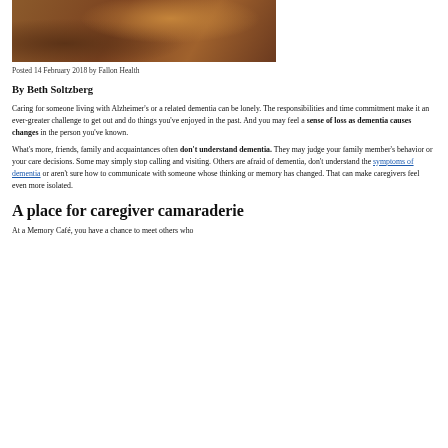[Figure (photo): Close-up photo of a person in a brown/rust-colored sweater, partial view showing hair and shoulder area]
Posted 14 February 2018 by Fallon Health
By Beth Soltzberg
Caring for someone living with Alzheimer's or a related dementia can be lonely. The responsibilities and time commitment make it an ever-greater challenge to get out and do things you've enjoyed in the past. And you may feel a sense of loss as dementia causes changes in the person you've known.
What's more, friends, family and acquaintances often don't understand dementia. They may judge your family member's behavior or your care decisions. Some may simply stop calling and visiting. Others are afraid of dementia, don't understand the symptoms of dementia or aren't sure how to communicate with someone whose thinking or memory has changed. That can make caregivers feel even more isolated.
A place for caregiver camaraderie
At a Memory Café, you have a chance to meet others who